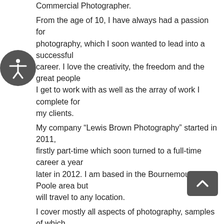Commercial Photographer. From the age of 10, I have always had a passion for photography, which I soon wanted to lead into a successful career. I love the creativity, the freedom and the great people I get to work with as well as the array of work I complete for my clients. My company “Lewis Brown Photography” started in 2011, firstly part-time which soon turned to a full-time career a year later in 2012. I am based in the Bournemouth & Poole area but will travel to any location. I cover mostly all aspects of photography, samples of which can be found by visiting my website. So whether you are looking for photos of the family, a celebration cake smash shoot for a little one’s birthday, reportage style or the traditional posing for weddings or marketing images for your business, I will be able to create a unique portfolio of images that you can cherish forever. “It’s a privilege to be the recommend photographer at Merley House. When you visit make sure you ask Kevin or Sammy to see the sample albums... This will allow you to see more of my